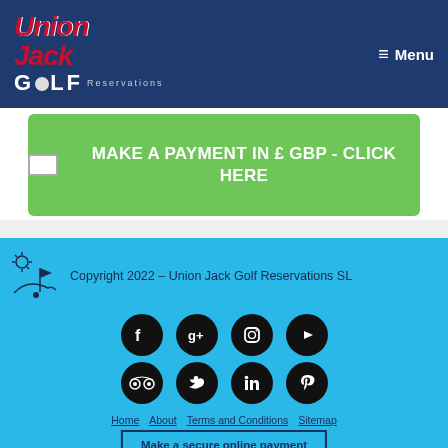Union Jack Golf Reservations – Menu
MAKE A PAYMENT IN £ GBP - CLICK HERE
[Figure (logo): Golf course icon with flag and sun]
Copyright 2022 – Union Jack Golf Reservations SL
[Figure (infographic): Social media icons: Facebook, Google+, Instagram, YouTube, TripAdvisor, Twitter, LinkedIn, Pinterest]
Home  About  Terms and Conditions  Sitemap
Make a secure online payment